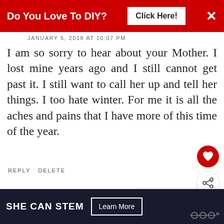Do You Love To DIY?  Click Here!  ×
JANUARY 5, 2018 AT 10:07 PM
I am so sorry to hear about your Mother. I lost mine years ago and I still cannot get past it. I still want to call her up and tell her things. I too hate winter. For me it is all the aches and pains that I have more of this time of the year.
REPLY   DELETE
▾   REPLIES
WHAT'S NEXT → Gathering Summer
Kim
JANUARY 5, 2018 AT 10:10 PM
SHE CAN STEM   Learn More